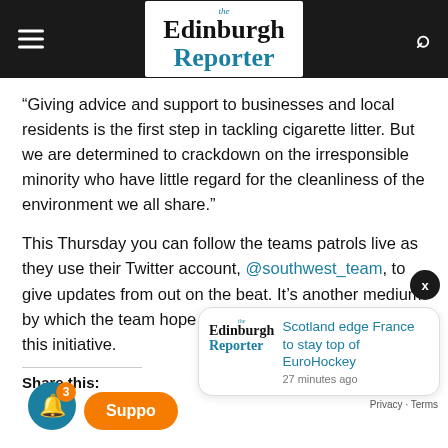the Edinburgh Reporter
“Giving advice and support to businesses and local residents is the first step in tackling cigarette litter. But we are determined to crackdown on the irresponsible minority who have little regard for the cleanliness of the environment we all share.”
This Thursday you can follow the teams patrols live as they use their Twitter account, @southwest_team, to give updates from out on the beat. It’s another medium by which the team hope to engage local residents in this initiative.
Share this:
[Figure (screenshot): Notification popup showing Edinburgh Reporter logo and headline: Scotland edge France to stay top of EuroHockey, 27 minutes ago]